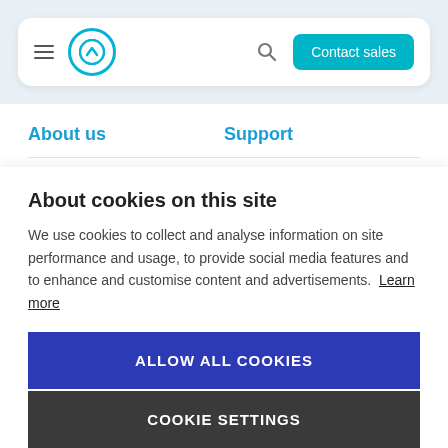[Figure (screenshot): Navigation bar with hamburger menu, circular logo, search icon, and 'Contact sales' teal button]
About us
Support
Mission
Help center
About cookies on this site
We use cookies to collect and analyse information on site performance and usage, to provide social media features and to enhance and customise content and advertisements. Learn more
ALLOW ALL COOKIES
COOKIE SETTINGS